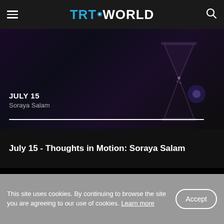TRT WORLD
[Figure (screenshot): Dark thumbnail image with an hourglass silhouette on a dark purple/blue background. Text overlay shows 'JULY 15' and 'Soraya Salam' with a white progress bar at bottom.]
July 15 - Thoughts in Motion: Soraya Salam
This site uses cookies. By continuing to browse the site you are agreeing to our use of cookies. Learn more